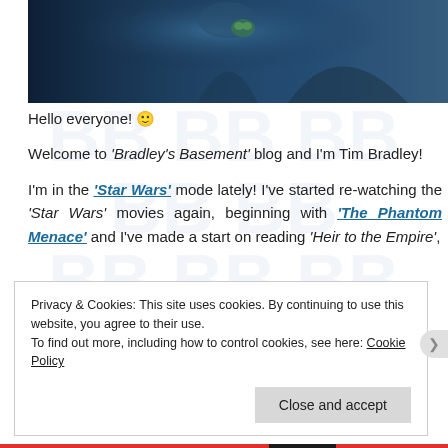[Figure (photo): Hero banner image showing Star Wars Mandalorian themed artwork with a character holding Baby Yoda against a dark blue background]
Hello everyone! 🙂
Welcome to 'Bradley's Basement' blog and I'm Tim Bradley!
I'm in the 'Star Wars' mode lately! I've started re-watching the 'Star Wars' movies again, beginning with 'The Phantom Menace' and I've made a start on reading 'Heir to the Empire',
Privacy & Cookies: This site uses cookies. By continuing to use this website, you agree to their use.
To find out more, including how to control cookies, see here: Cookie Policy
[Close and accept]